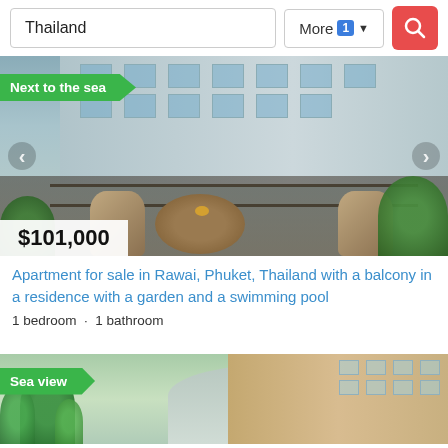Thailand
More 1
[Figure (photo): Apartment balcony with table and chairs, building facade in background. Tag: Next to the sea. Price: $101,000.]
Apartment for sale in Rawai, Phuket, Thailand with a balcony in a residence with a garden and a swimming pool
1 bedroom · 1 bathroom
[Figure (photo): Apartment complex with palm trees. Tag: Sea view.]